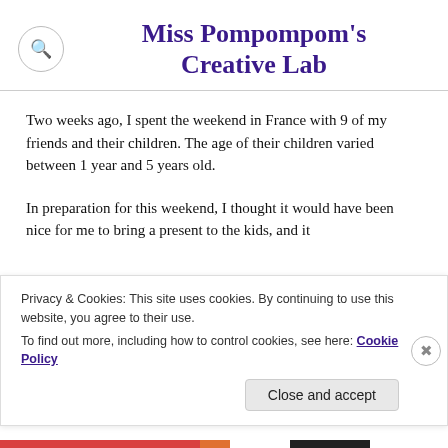Miss Pompompom's Creative Lab
Two weeks ago, I spent the weekend in France with 9 of my friends and their children. The age of their children varied between 1 year and 5 years old.
In preparation for this weekend, I thought it would have been nice for me to bring a present to the kids, and it
Privacy & Cookies: This site uses cookies. By continuing to use this website, you agree to their use.
To find out more, including how to control cookies, see here: Cookie Policy